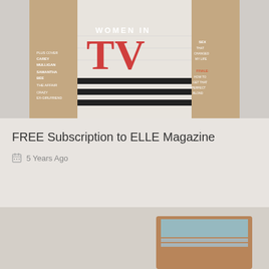[Figure (photo): ELLE Magazine cover showing a woman in a white halter dress with 'WOMEN IN TV' text overlaid in large letters, with various article titles visible]
FREE Subscription to ELLE Magazine
5 Years Ago
[Figure (photo): Partial view of what appears to be a product or item, cut off at the bottom of the page]